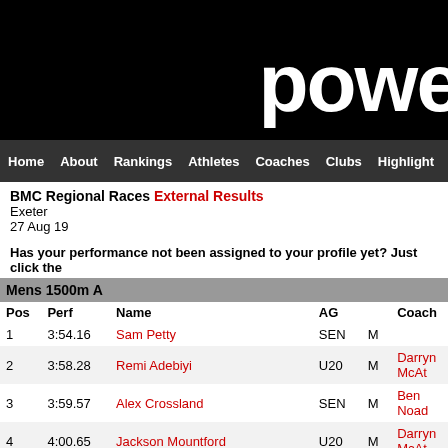powe
Home About Rankings Athletes Coaches Clubs Highlight
BMC Regional Races External Results
Exeter
27 Aug 19
Has your performance not been assigned to your profile yet? Just click the
| Pos | Perf | Name |  | AG |  | Coach |
| --- | --- | --- | --- | --- | --- | --- |
| 1 | 3:54.16 | Sam Petty |  | SEN | M |  |
| 2 | 3:58.28 | Remi Adebiyi |  | U20 | M | Darryn McAt |
| 3 | 3:59.57 | Alex Crossland |  | SEN | M | Ben Noad |
| 4 | 4:00.65 | Jackson Mountford |  | U20 | M | Darryn McAt |
| 5 | 4:01.80 | Sam Sommerville | SB | U23 | M | Annette Wea |
| 6 | 4:14.21 | Thomas Bayley | PB | U23 | M |  |
| 7 | 4:14.45 | Patrick Mochan | SB | U17 | M | Kevin Buttl |